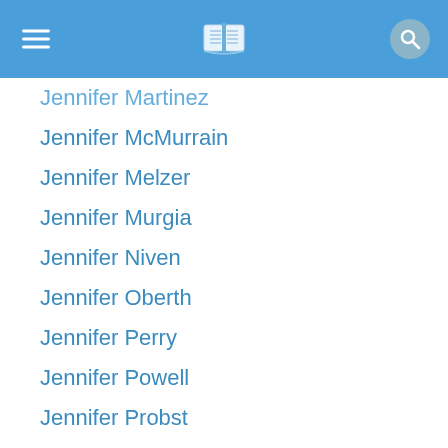Jennifer Martinez (partial)
Jennifer McMurrain
Jennifer Melzer
Jennifer Murgia
Jennifer Niven
Jennifer Oberth
Jennifer Perry
Jennifer Powell
Jennifer Probst
Jennifer R. Hubbard
Jennifer Reynolds
Jennifer Richard Jacobson
Jennifer Rush
Jennifer Snyder